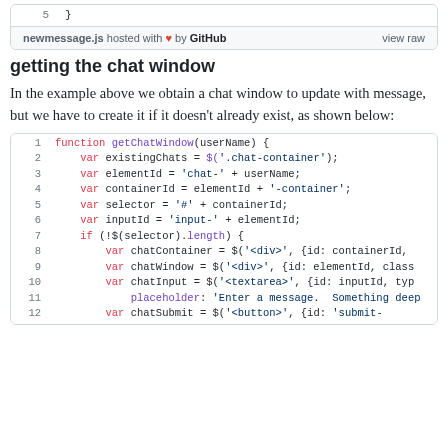[Figure (screenshot): Code snippet footer showing line 5 closing brace and GitHub embed footer with filename newmessage.js]
getting the chat window
In the example above we obtain a chat window to update with message, but we have to create it if it doesn't already exist, as shown below:
[Figure (screenshot): Code block showing getChatWindow function lines 1-12 with syntax highlighting]